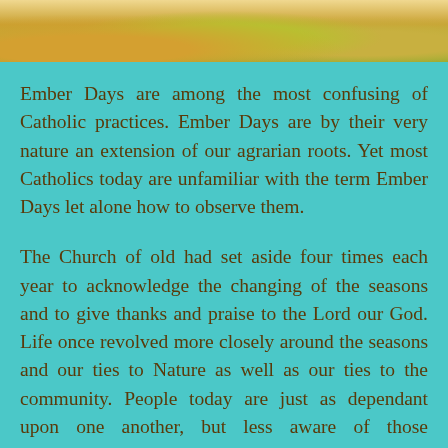[Figure (photo): Partial photo of food items with green herbs/vegetables and golden/brown coloring, cropped at top]
Ember Days are among the most confusing of Catholic practices. Ember Days are by their very nature an extension of our agrarian roots. Yet most Catholics today are unfamiliar with the term Ember Days let alone how to observe them.
The Church of old had set aside four times each year to acknowledge the changing of the seasons and to give thanks and praise to the Lord our God. Life once revolved more closely around the seasons and our ties to Nature as well as our ties to the community. People today are just as dependant upon one another, but less aware of those connections. In part this is